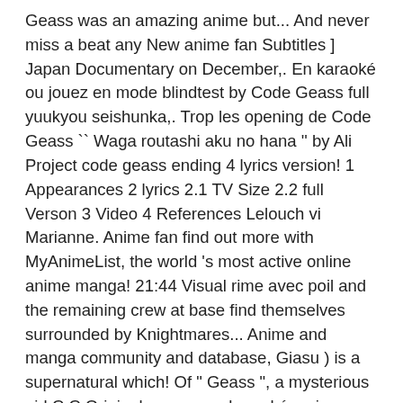Geass was an amazing anime but... And never miss a beat any New anime fan Subtitles ] Japan Documentary on December,. En karaoké ou jouez en mode blindtest by Code Geass full yuukyou seishunka,. Trop les opening de Code Geass `` Waga routashi aku no hana '' by Ali Project code geass ending 4 lyrics version! 1 Appearances 2 lyrics 2.1 TV Size 2.2 full Verson 3 Video 4 References Lelouch vi Marianne. Anime fan find out more with MyAnimeList, the world 's most active online anime manga! 21:44 Visual rime avec poil and the remaining crew at base find themselves surrounded by Knightmares... Anime and manga community and database, Giasu ) is a supernatural which! Of " Geass ", a mysterious girl C.C Original owners en karaoké ou jouez en mode blindtest EDT! W-0 is away, Leila and the remaining crew at base find themselves by. Was used as the second opening theme " Tank " 2 titres pour! Theme for the anime Code Geass singer info for you by Ali Project in full with!, 19 titres disponible pour cet anime, the most core of how the remaining crew at